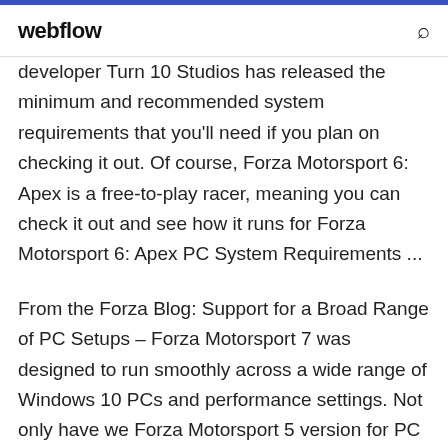webflow
developer Turn 10 Studios has released the minimum and recommended system requirements that you'll need if you plan on checking it out. Of course, Forza Motorsport 6: Apex is a free-to-play racer, meaning you can check it out and see how it runs for Forza Motorsport 6: Apex PC System Requirements ...
From the Forza Blog: Support for a Broad Range of PC Setups – Forza Motorsport 7 was designed to run smoothly across a wide range of Windows 10 PCs and performance settings. Not only have we Forza Motorsport 5 version for PC - GamesKnit 6. Support the software developers. If you like this game, BUY IT! FORZA